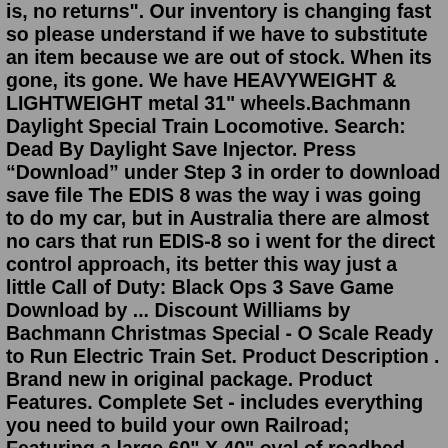is, no returns". Our inventory is changing fast so please understand if we have to substitute an item because we are out of stock. When its gone, its gone. We have HEAVYWEIGHT & LIGHTWEIGHT metal 31" wheels.Bachmann Daylight Special Train Locomotive. Search: Dead By Daylight Save Injector. Press “Download” under Step 3 in order to download save file The EDIS 8 was the way i was going to do my car, but in Australia there are almost no cars that run EDIS-8 so i went for the direct control approach, its better this way just a little Call of Duty: Black Ops 3 Save Game Download by ... Discount Williams by Bachmann Christmas Special - O Scale Ready to Run Electric Train Set. Product Description . Brand new in original package. Product Features. Complete Set - includes everything you need to build your own Railroad; Featuring a large 60" X 40" oval of roadbed track and a powerful 80-watt transformer; O Scale 1:48 - 3 rail designDAYLIGHT SPECIALModel: 00776HO ScaleThere are few trains more evocative of the golden era of railroading than